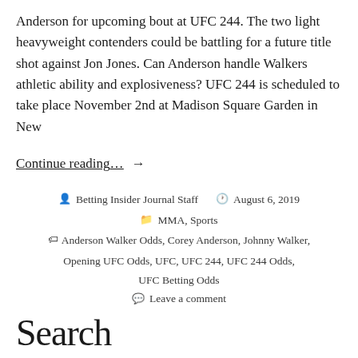Anderson for upcoming bout at UFC 244. The two light heavyweight contenders could be battling for a future title shot against Jon Jones. Can Anderson handle Walkers athletic ability and explosiveness? UFC 244 is scheduled to take place November 2nd at Madison Square Garden in New
Continue reading... →
Betting Insider Journal Staff  August 6, 2019  MMA, Sports  Anderson Walker Odds, Corey Anderson, Johnny Walker, Opening UFC Odds, UFC, UFC 244, UFC 244 Odds, UFC Betting Odds  Leave a comment
Search